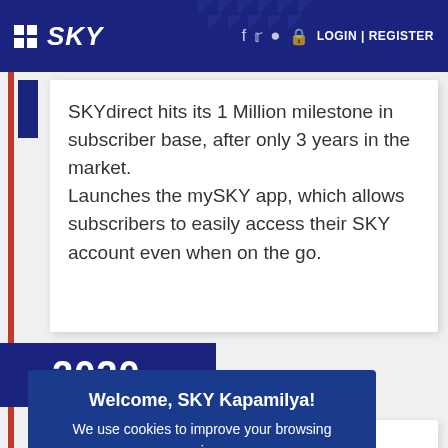SKY | LOGIN | REGISTER
SKYdirect hits its 1 Million milestone in subscriber base, after only 3 years in the market.
Launches the mySKY app, which allows subscribers to easily access their SKY account even when on the go.
2020
Welcome, SKY Kapamilya!
We use cookies to improve your browsing experience.
Continue to use this site means you agree to our use of cookies
Tell me more!
ing and und n its e to